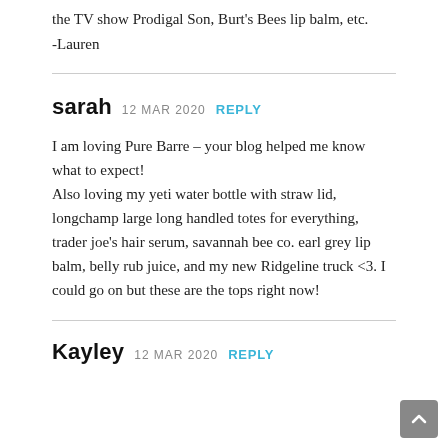the TV show Prodigal Son, Burt's Bees lip balm, etc.
-Lauren
sarah  12 MAR 2020  REPLY
I am loving Pure Barre – your blog helped me know what to expect!
Also loving my yeti water bottle with straw lid, longchamp large long handled totes for everything, trader joe's hair serum, savannah bee co. earl grey lip balm, belly rub juice, and my new Ridgeline truck <3. I could go on but these are the tops right now!
Kayley  12 MAR 2020  REPLY